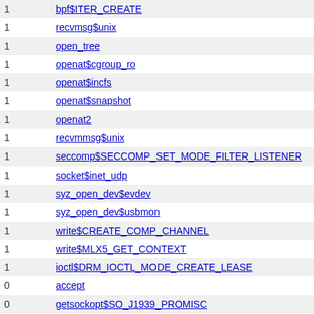| count | syscall |
| --- | --- |
| 1 | bpf$ITER_CREATE |
| 1 | recvmsg$unix |
| 1 | open_tree |
| 1 | openat$cgroup_ro |
| 1 | openat$incfs |
| 1 | openat$snapshot |
| 1 | openat2 |
| 1 | recvmmsg$unix |
| 1 | seccomp$SECCOMP_SET_MODE_FILTER_LISTENER |
| 1 | socket$inet_udp |
| 1 | syz_open_dev$evdev |
| 1 | syz_open_dev$usbmon |
| 1 | write$CREATE_COMP_CHANNEL |
| 1 | write$MLX5_GET_CONTEXT |
| 1 | ioctl$DRM_IOCTL_MODE_CREATE_LEASE |
| 0 | accept |
| 0 | getsockopt$SO_J1939_PROMISC |
| 0 | getsockopt$SO_J1939_SEND_PRIO |
| 0 | getsockopt$SO_TIMESTAMP |
| 0 | getsockopt$SO_TIMESTAMPING |
| 0 | getsockopt$TIPC_CONN_TIMEOUT |